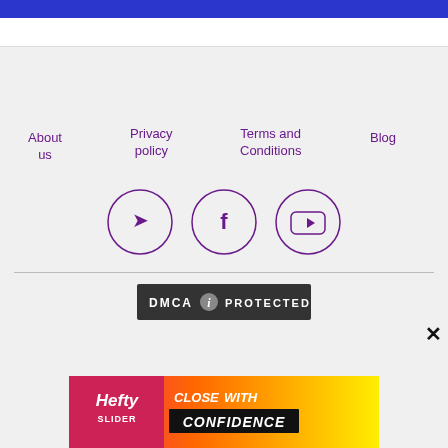About us
Privacy policy
Terms and Conditions
Blog
[Figure (illustration): Three social media icon circles: Telegram, Facebook, YouTube]
[Figure (logo): DMCA Protected badge — dark background with DMCA text and info icon and PROTECTED text]
[Figure (photo): Hefty Slider advertisement banner with close button — pink/orange/yellow gradient, Hefty logo, CLOSE WITH CONFIDENCE text]